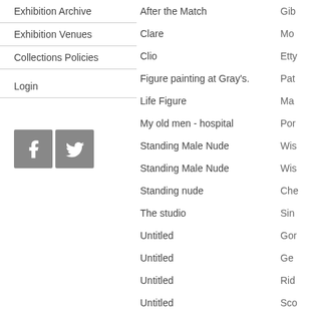Exhibition Archive
Exhibition Venues
Collections Policies
Login
[Figure (logo): Facebook and Twitter social media icons]
After the Match | Gib...
Clare | Mo...
Clio | Etty...
Figure painting at Gray's. | Pat...
Life Figure | Ma...
My old men - hospital | Por...
Standing Male Nude | Wis...
Standing Male Nude | Wis...
Standing nude | Che...
The studio | Sin...
Untitled | Gor...
Untitled | Ge...
Untitled | Rid...
Untitled | Sco...
Untitled | Ma...
Untitled | Mill...
Untitled | Mu...
Untitled | Airc...
Untitled | Shi...
Untitled | McL...